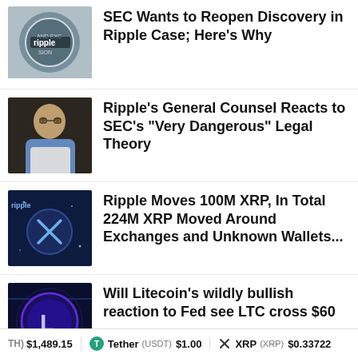SEC Wants to Reopen Discovery in Ripple Case; Here's Why
Ripple's General Counsel Reacts to SEC's "Very Dangerous" Legal Theory
Ripple Moves 100M XRP, In Total 224M XRP Moved Around Exchanges and Unknown Wallets...
Will Litecoin's wildly bullish reaction to Fed see LTC cross $60
TH) $1,489.15   Tether (USDT) $1.00   XRP (XRP) $0.33722